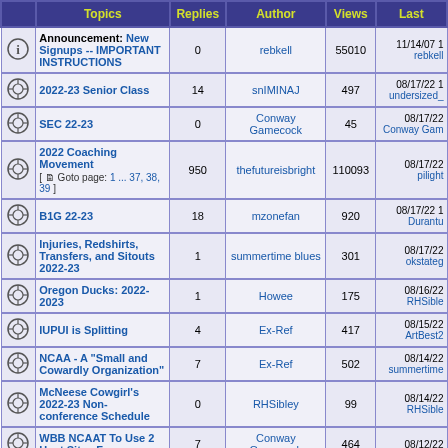| Topics | Replies | Author | Views | Last |
| --- | --- | --- | --- | --- |
| Announcement: New Signups -- IMPORTANT INSTRUCTIONS | 0 | rebkell | 55010 | 11/14/07 1 rebkell |
| 2022-23 Senior Class | 14 | snIMINAJ | 497 | 08/17/22 1 undersized_ |
| SEC 22-23 | 0 | Conway Gamecock | 45 | 08/17/22 Conway Gam |
| 2022 Coaching Movement [ Goto page: 1 ... 37, 38, 39 ] | 950 | thefutureisbright | 110093 | 08/17/22 pilight |
| B1G 22-23 | 18 | mzonefan | 920 | 08/17/22 1 Durantu |
| Injuries, Redshirts, Transfers, and Sitouts 2022-23 | 1 | summertime blues | 301 | 08/17/22 okstateg |
| Oregon Ducks: 2022-2023 | 1 | Howee | 175 | 08/16/22 RHSible |
| IUPUI is Splitting | 4 | Ex-Ref | 417 | 08/15/22 ArtBest2 |
| NCAA - A "Small and Cowardly Organization" | 7 | Ex-Ref | 502 | 08/14/22 summertime |
| McNeese Cowgirl's 2022-23 Non-conference Schedule | 0 | RHSibley | 99 | 08/14/22 RHSible |
| WBB NCAAT To Use 2 Host Sites For | 7 | Conway Gamecock | 464 | 08/12/22 |